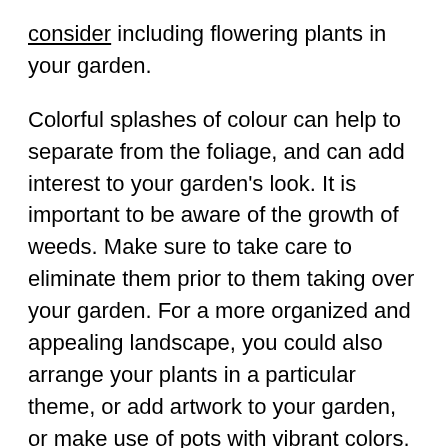consider including flowering plants in your garden.
Colorful splashes of colour can help to separate from the foliage, and can add interest to your garden's look. It is important to be aware of the growth of weeds. Make sure to take care to eliminate them prior to them taking over your garden. For a more organized and appealing landscape, you could also arrange your plants in a particular theme, or add artwork to your garden, or make use of pots with vibrant colors.
Include areas for outdoor dining and Entertainment
When you've determined how to design a garden